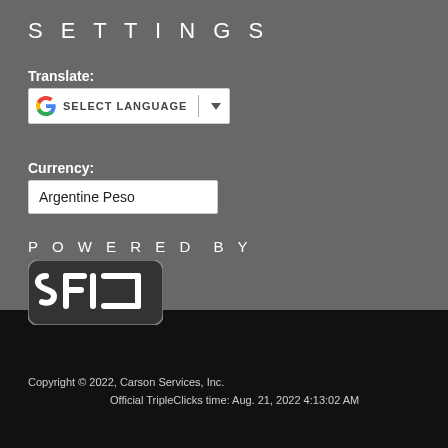SETTINGS
Translate:
[Figure (screenshot): Google Translate widget showing SELECT LANGUAGE dropdown]
Currency:
Argentine Peso
POWERED BY
[Figure (logo): SFI logo - white text on dark rounded rectangle]
Copyright © 2022, Carson Services, Inc. Official TripleClicks time: Aug. 21, 2022 4:13:02 AM